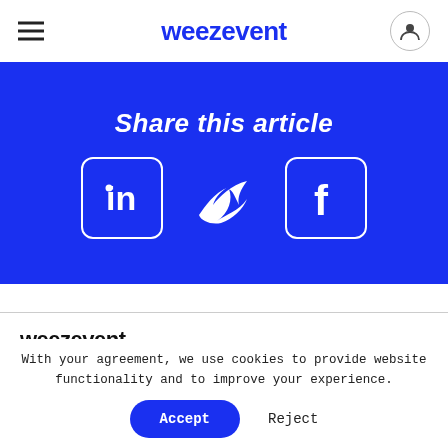weezevent
Share this article
[Figure (illustration): LinkedIn, Twitter, and Facebook social sharing icons in white on blue background]
weezevent
Canada (EN)
With your agreement, we use cookies to provide website functionality and to improve your experience.
Accept
Reject